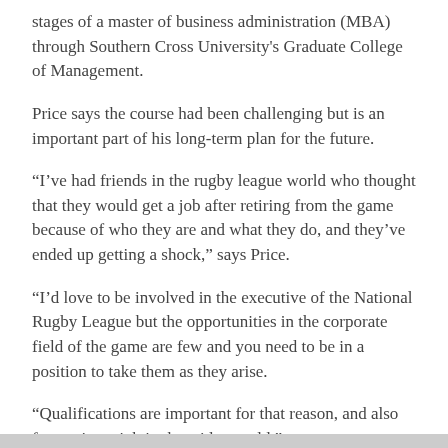stages of a master of business administration (MBA) through Southern Cross University's Graduate College of Management.
Price says the course had been challenging but is an important part of his long-term plan for the future.
“I’ve had friends in the rugby league world who thought that they would get a job after retiring from the game because of who they are and what they do, and they’ve ended up getting a shock,” says Price.
“I’d love to be involved in the executive of the National Rugby League but the opportunities in the corporate field of the game are few and you need to be in a position to take them as they arise.
“Qualifications are important for that reason, and also for getting a job in the wider world.”
Price says the degree has made him realize the similarities